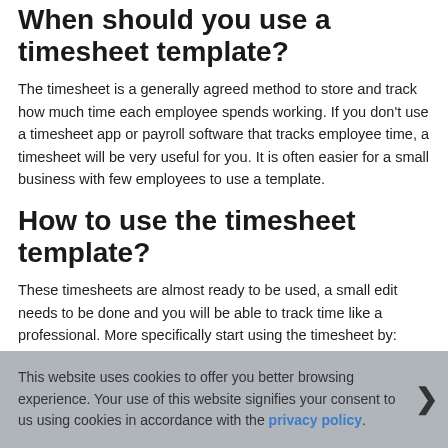When should you use a timesheet template?
The timesheet is a generally agreed method to store and track how much time each employee spends working. If you don't use a timesheet app or payroll software that tracks employee time, a timesheet will be very useful for you. It is often easier for a small business with few employees to use a template.
How to use the timesheet template?
These timesheets are almost ready to be used, a small edit needs to be done and you will be able to track time like a professional. More specifically start using the timesheet by:
This website uses cookies to offer you better browsing experience. Your use of this website signifies your consent to us using cookies in accordance with the privacy policy.